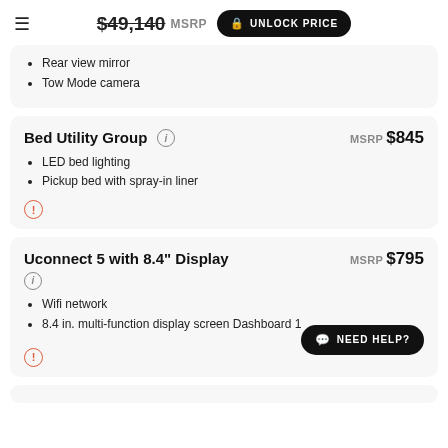$49,140 MSRP UNLOCK PRICE
Rear view mirror
Tow Mode camera
Bed Utility Group
MSRP $845
LED bed lighting
Pickup bed with spray-in liner
Uconnect 5 with 8.4" Display
MSRP $795
Wifi network
8.4 in. multi-function display screen Dashboard 1